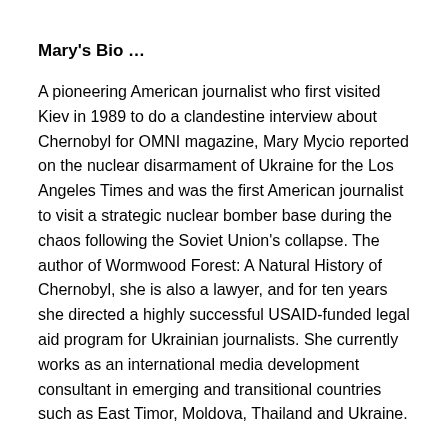Mary's Bio …
A pioneering American journalist who first visited Kiev in 1989 to do a clandestine interview about Chernobyl for OMNI magazine, Mary Mycio reported on the nuclear disarmament of Ukraine for the Los Angeles Times and was the first American journalist to visit a strategic nuclear bomber base during the chaos following the Soviet Union's collapse. The author of Wormwood Forest: A Natural History of Chernobyl, she is also a lawyer, and for ten years she directed a highly successful USAID-funded legal aid program for Ukrainian journalists. She currently works as an international media development consultant in emerging and transitional countries such as East Timor, Moldova, Thailand and Ukraine.